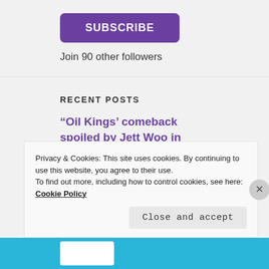SUBSCRIBE
Join 90 other followers
RECENT POSTS
“Oil Kings’ comeback spoiled by Jett Woo in dramatic Teddy Bear Toss night”
Oil Kings look flat in playoff rematch, get crushed
Privacy & Cookies: This site uses cookies. By continuing to use this website, you agree to their use.
To find out more, including how to control cookies, see here: Cookie Policy
Close and accept